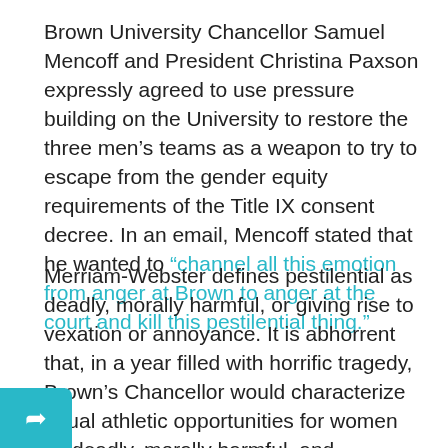Brown University Chancellor Samuel Mencoff and President Christina Paxson expressly agreed to use pressure building on the University to restore the three men's teams as a weapon to try to escape from the gender equity requirements of the Title IX consent decree. In an email, Mencoff stated that he wanted to “channel all this emotion from anger at Brown to anger at the court and kill this pestilential thing.”
Merriam-Webster defines pestilential as deadly, morally harmful, or giving rise to vexation or annoyance. It is abhorrent that, in a year filled with horrific tragedy, Brown’s Chancellor would characterize equal athletic opportunities for women as deadly, morally harmful, and annoying. It is appalling that Mencoff explicitly intended to pit